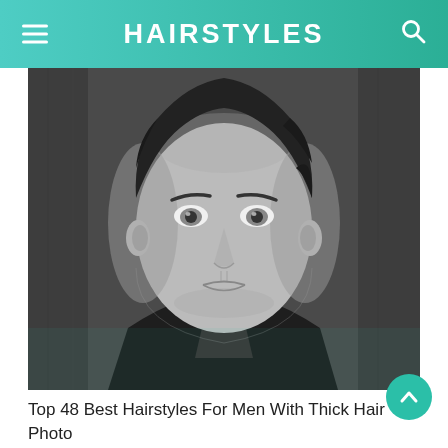HAIRSTYLES
[Figure (photo): Black and white portrait photo of a young man with thick dark curly hair, wearing a leather jacket and plaid shirt, looking directly at the camera.]
Top 48 Best Hairstyles For Men With Thick Hair Photo Guide